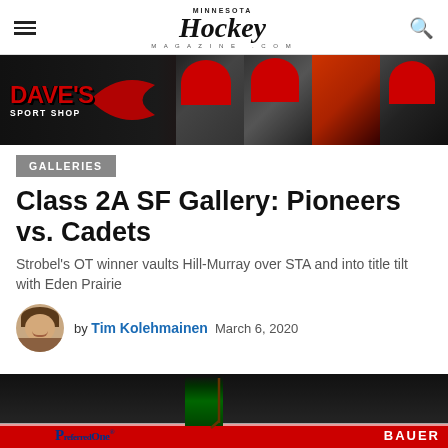Minnesota Hockey Magazine
[Figure (photo): Dave's Sport Shop advertisement banner with athletes in helmets]
GALLERIES
Class 2A SF Gallery: Pioneers vs. Cadets
Strobel's OT winner vaults Hill-Murray over STA and into title tilt with Eden Prairie
by Tim Kolehmainen   March 6, 2020
[Figure (photo): Hockey game action photo with player in green jersey near rink boards with Preferred One and Bauer signage]